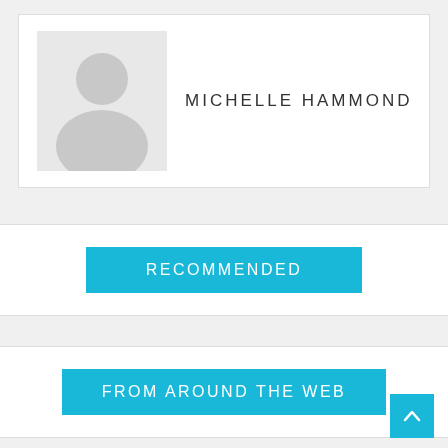[Figure (photo): Default avatar placeholder image (grey silhouette of a person on light grey background)]
MICHELLE HAMMOND
RECOMMENDED
FROM AROUND THE WEB